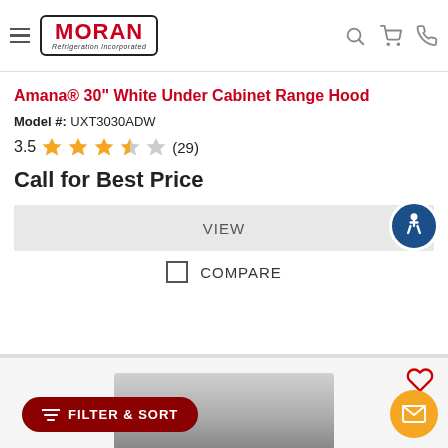MORAN Refrigeration Incorporated — navigation header
Amana® 30" White Under Cabinet Range Hood
Model #: UXT3030ADW
3.5 stars (29)
Call for Best Price
VIEW
COMPARE
[Figure (photo): Second product listing card showing a stainless range hood appliance image, with a heart/favorite icon in the top right corner]